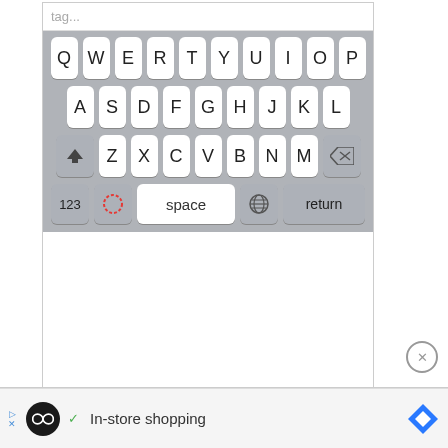[Figure (screenshot): iOS QWERTY keyboard screenshot showing a tag input field at top, full QWERTY keyboard layout with shift and delete keys, and bottom row with 123, emoji, space, globe, and return keys]
[Figure (screenshot): Advertisement banner at bottom: circular black logo with infinity symbol, checkmark, 'In-store shopping' text, and blue diamond navigation icon]